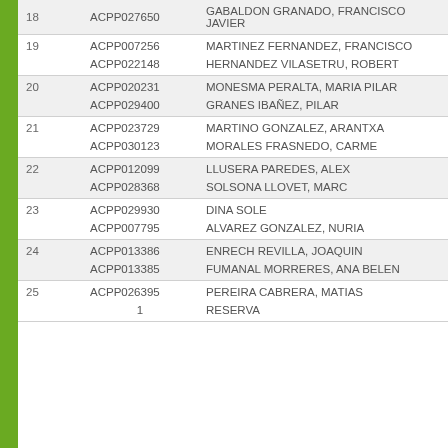| # | Code | Name |
| --- | --- | --- |
| 18 | ACPP027650 | GABALDON GRANADO, FRANCISCO JAVIER |
| 19 | ACPP007256 | MARTINEZ FERNANDEZ, FRANCISCO |
| 19 | ACPP022148 | HERNANDEZ VILASETRU, ROBERT |
| 20 | ACPP020231 | MONESMA PERALTA, MARIA PILAR |
| 20 | ACPP029400 | GRANES IBAÑEZ, PILAR |
| 21 | ACPP023729 | MARTINO GONZALEZ, ARANTXA |
| 21 | ACPP030123 | MORALES FRASNEDO, CARME |
| 22 | ACPP012099 | LLUSERA PAREDES, ALEX |
| 22 | ACPP028368 | SOLSONA LLOVET, MARC |
| 23 | ACPP029930 | DINA SOLE |
| 23 | ACPP007795 | ALVAREZ GONZALEZ, NURIA |
| 24 | ACPP013386 | ENRECH REVILLA, JOAQUIN |
| 24 | ACPP013385 | FUMANAL MORRERES, ANA BELEN |
| 25 | ACPP026395 | PEREIRA CABRERA, MATIAS |
| 25 | 1 | RESERVA |